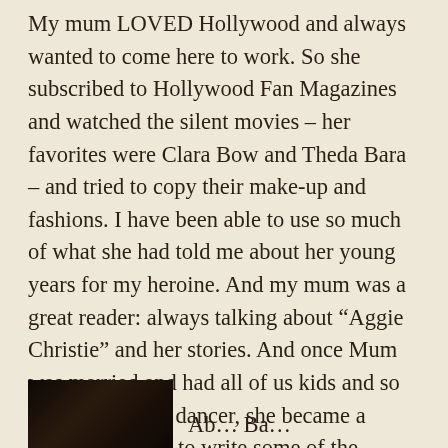My mum LOVED Hollywood and always wanted to come here to work. So she subscribed to Hollywood Fan Magazines and watched the silent movies – her favorites were Clara Bow and Theda Bara – and tried to copy their make-up and fashions. I have been able to use so much of what she had told me about her young years for my heroine. And my mum was a great reader: always talking about “Aggie Christie” and her stories. And once Mum was married and had all of us kids and so no longer was a dancer, she became a writer. She used to write some of the fifteen minute “Morning Mysteries,” for BBC Radio and “Mystery At Midnight,” for Capitol Radio in England.
[Figure (photo): A dark, partially visible photograph at the bottom left of the page.]
Ab... Ba... (partial text continues to the right of the photo)